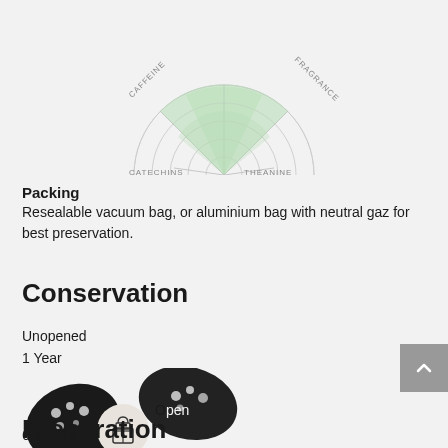[Figure (radar-chart): Partial radar/spider chart showing tea compound axes: CAFFEINE (left), FRAGRANCE (right), CATECHINS (bottom-left), THEANINE (bottom-right). The upper segment between CAFFEINE and FRAGRANCE is filled in light green, other segments are light grey. Only the upper half of the chart is visible.]
Packing
Resealable vacuum bag, or aluminium bag with neutral gaz for best preservation.
Conservation
Unopened
1 Year
[Figure (illustration): Decorative illustration of tea packaging/bags with floral pattern. A circular icon overlay shows a bag/gift icon.]
6 Weeks
Preparation